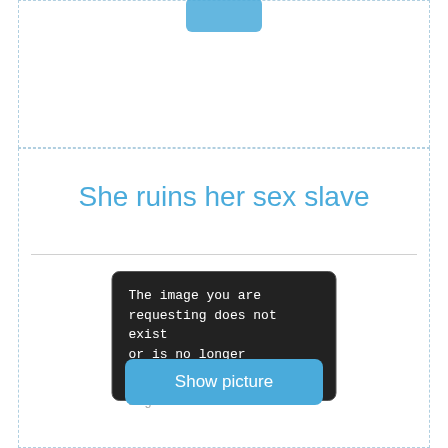[Figure (screenshot): Top dashed-border section with a partially visible blue button at top]
She ruins her sex slave
[Figure (screenshot): Imgur error image placeholder with black background reading: The image you are requesting does not exist or is no longer available. imgur.com]
[Figure (screenshot): Blue 'Show picture' button]